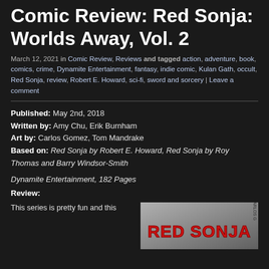Comic Review: Red Sonja: Worlds Away, Vol. 2
March 12, 2021 in Comic Review, Reviews and tagged action, adventure, book, comics, crime, Dynamite Entertainment, fantasy, indie comic, Kulan Gath, occult, Red Sonja, review, Robert E. Howard, sci-fi, sword and sorcery | Leave a comment
Published: May 2nd, 2018
Written by: Amy Chu, Erik Burnham
Art by: Carlos Gomez, Tom Mandrake
Based on: Red Sonja by Robert E. Howard, Red Sonja by Roy Thomas and Barry Windsor-Smith
Dynamite Entertainment, 182 Pages
Review:
This series is pretty fun and this
[Figure (photo): Red Sonja comic book cover image showing the Red Sonja logo in red lettering on a grey/silver background]